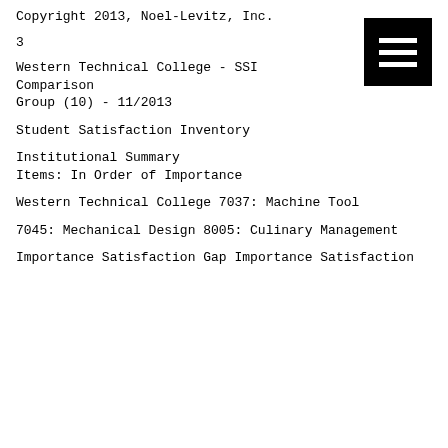Copyright 2013, Noel-Levitz, Inc.
3
Western Technical College - SSI Comparison Group (10) - 11/2013
Student Satisfaction Inventory
Institutional Summary
Items: In Order of Importance
Western Technical College
7037: Machine Tool
7045: Mechanical Design
8005: Culinary Management
Importance
Satisfaction
Gap
Importance
Satisfaction